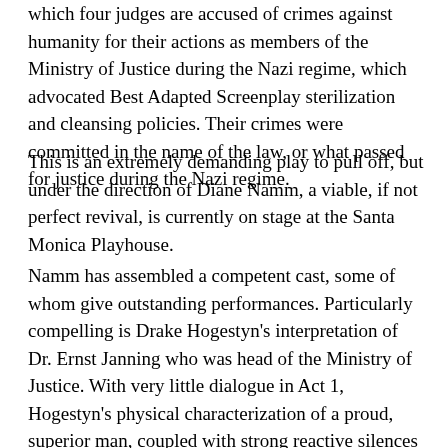which four judges are accused of crimes against humanity for their actions as members of the Ministry of Justice during the Nazi regime, which advocated Best Adapted Screenplay sterilization and cleansing policies. Their crimes were committed in the name of the law, or what passed for justice during the Nazi regime.
This is an extremely demanding play to pull off, but under the direction of Diane Namm, a viable, if not perfect revival, is currently on stage at the Santa Monica Playhouse.
Namm has assembled a competent cast, some of whom give outstanding performances. Particularly compelling is Drake Hogestyn's interpretation of Dr. Ernst Janning who was head of the Ministry of Justice. With very little dialogue in Act 1, Hogestyn's physical characterization of a proud, superior man, coupled with strong reactive silences to the proceedings, is an example of an actor needing little to no dialogue to render a splendid performance. The change in his character in Act II